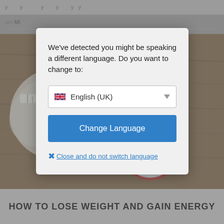[Figure (screenshot): Background webpage screenshot showing a dimmed page with a photo of a tape measure and clock on a wooden surface, with partial navigation text 'om Mi' and bottom heading 'HOW TO LOSE WEIGHT AND GAIN ENERGY']
We've detected you might be speaking a different language. Do you want to change to:
[Figure (screenshot): Dropdown selector showing UK flag and text 'English (UK)' with a downward arrow]
Change Language
Close and do not switch language